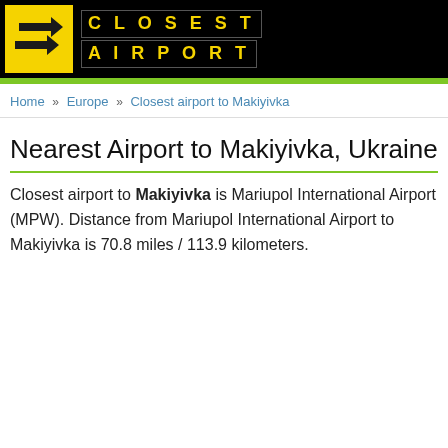[Figure (logo): Closest Airport logo with yellow arrow icon on black background and yellow letter grid spelling CLOSEST AIRPORT]
Home » Europe » Closest airport to Makiyivka
Nearest Airport to Makiyivka, Ukraine
Closest airport to Makiyivka is Mariupol International Airport (MPW). Distance from Mariupol International Airport to Makiyivka is 70.8 miles / 113.9 kilometers.